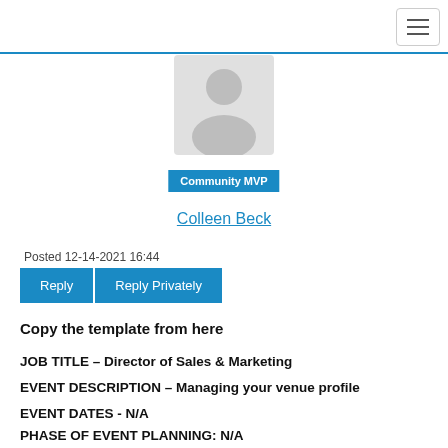[Figure (illustration): Default user avatar silhouette in gray]
Community MVP
Colleen Beck
Posted 12-14-2021 16:44
Reply   Reply Privately
Copy the template from here
JOB TITLE – Director of Sales & Marketing
EVENT DESCRIPTION – Managing your venue profile
EVENT DATES - N/A
PHASE OF EVENT PLANNING: N/A